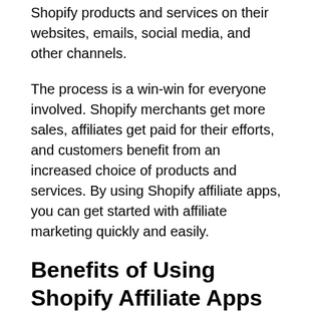Shopify products and services on their websites, emails, social media, and other channels.
The process is a win-win for everyone involved. Shopify merchants get more sales, affiliates get paid for their efforts, and customers benefit from an increased choice of products and services. By using Shopify affiliate apps, you can get started with affiliate marketing quickly and easily.
Benefits of Using Shopify Affiliate Apps
Businesses that use Shopify affiliate apps can enjoy several benefits, including: